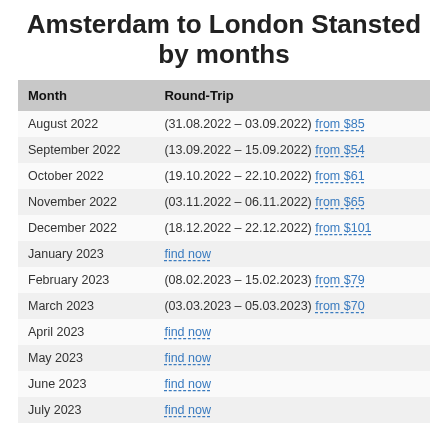Amsterdam to London Stansted by months
| Month | Round-Trip |
| --- | --- |
| August 2022 | (31.08.2022 – 03.09.2022) from $85 |
| September 2022 | (13.09.2022 – 15.09.2022) from $54 |
| October 2022 | (19.10.2022 – 22.10.2022) from $61 |
| November 2022 | (03.11.2022 – 06.11.2022) from $65 |
| December 2022 | (18.12.2022 – 22.12.2022) from $101 |
| January 2023 | find now |
| February 2023 | (08.02.2023 – 15.02.2023) from $79 |
| March 2023 | (03.03.2023 – 05.03.2023) from $70 |
| April 2023 | find now |
| May 2023 | find now |
| June 2023 | find now |
| July 2023 | find now |